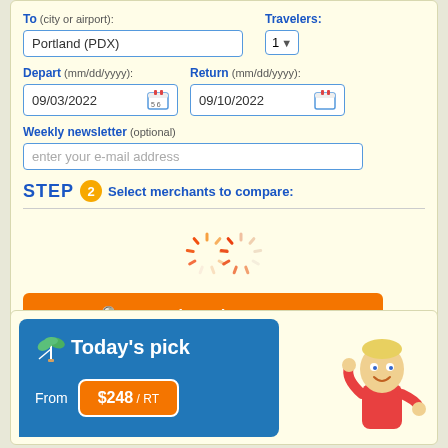To (city or airport): Portland (PDX)
Travelers: 1
Depart (mm/dd/yyyy): 09/03/2022
Return (mm/dd/yyyy): 09/10/2022
Weekly newsletter (optional) - enter your e-mail address
STEP 2 Select merchants to compare:
[Figure (other): Loading spinner animation with two partial circle arc indicators in orange/pink tones]
search and compare
Today's pick
From $248 / RT